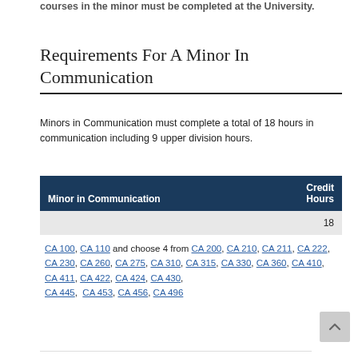courses in the minor must be completed at the University.
Requirements For A Minor In Communication
Minors in Communication must complete a total of 18 hours in communication including 9 upper division hours.
| Minor in Communication | Credit Hours |
| --- | --- |
|  | 18 |
| CA 100, CA 110 and choose 4 from CA 200, CA 210, CA 211, CA 222, CA 230, CA 260, CA 275, CA 310, CA 315, CA 330, CA 360, CA 410, CA 411, CA 422, CA 424, CA 430, CA 445, CA 453, CA 456, CA 496 |  |
[Figure (other): Scroll to top button]